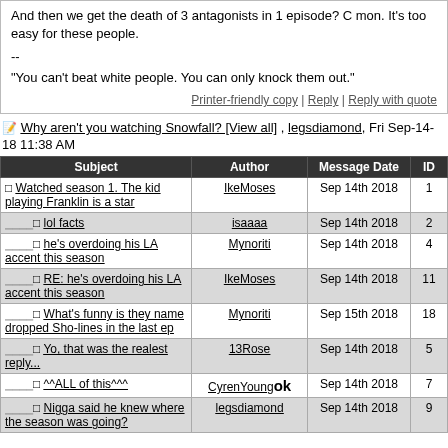And then we get the death of 3 antagonists in 1 episode? C mon. It's too easy for these people.

--

"You can't beat white people. You can only knock them out."
Printer-friendly copy | Reply | Reply with quote
✎ Why aren't you watching Snowfall? [View all] , legsdiamond, Fri Sep-14-18 11:38 AM
| Subject | Author | Message Date | ID |
| --- | --- | --- | --- |
| Watched season 1. The kid playing Franklin is a star | IkeMoses | Sep 14th 2018 | 1 |
| · lol facts | isaaaa | Sep 14th 2018 | 2 |
| · he's overdoing his LA accent this season | Mynoriti | Sep 14th 2018 | 4 |
| · RE: he's overdoing his LA accent this season | IkeMoses | Sep 14th 2018 | 11 |
| · What's funny is they name dropped Sho-lines in the last ep | Mynoriti | Sep 15th 2018 | 18 |
| · Yo, that was the realest reply... | 13Rose | Sep 14th 2018 | 5 |
| · ^^ALL of this^^^ | CyrenYoung ok | Sep 14th 2018 | 7 |
| · Nigga said he knew where the season was going? | legsdiamond | Sep 14th 2018 | 9 |